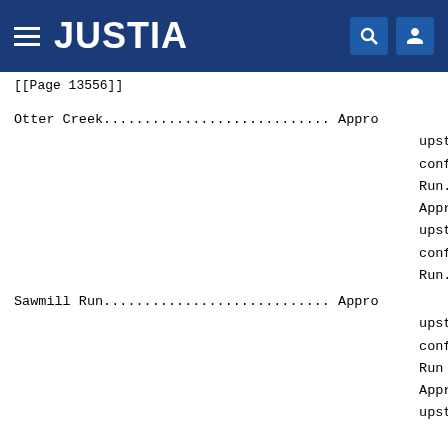JUSTIA
[[Page 13556]]
Otter Creek............................ Appro
    upst
    conf
    Run.
    Appro
    upst
    conf
    Run.
Sawmill Run............................ Appro
    upst
    conf
    Run .
    Appro
    upst